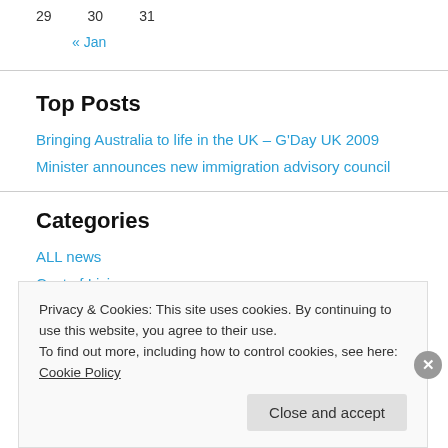29   30   31
« Jan
Top Posts
Bringing Australia to life in the UK – G'Day UK 2009
Minister announces new immigration advisory council
Categories
ALL news
Cost of Living
Privacy & Cookies: This site uses cookies. By continuing to use this website, you agree to their use.
To find out more, including how to control cookies, see here: Cookie Policy
Close and accept